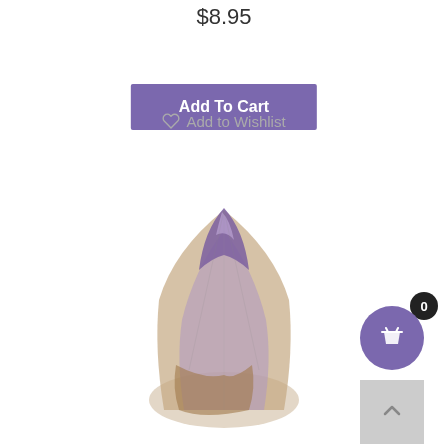$8.95
Add To Cart
♡ Add to Wishlist
[Figure (photo): A raw amethyst crystal point with purple coloring at the tip and brownish-clear quartz base, photographed on a white background.]
[Figure (other): Shopping cart icon in a purple circle with a badge showing 0, and a scroll-to-top gray button below.]